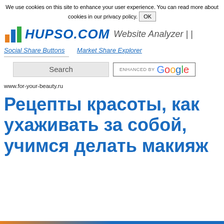We use cookies on this site to enhance your user experience. You can read more about cookies in our privacy policy. OK
[Figure (logo): Hupso.com logo with colorful bar chart icon and blue italic text 'HUPSO.COM', followed by 'Website Analyzer | |' in gray italic]
Social Share Buttons   Market Share Explorer
Search   ENHANCED BY Google
www.for-your-beauty.ru
Рецепты красоты, как ухаживать за собой, учимся делать макияж